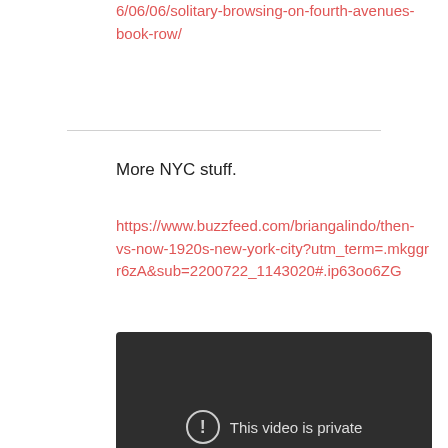6/06/06/solitary-browsing-on-fourth-avenues-book-row/
More NYC stuff.
https://www.buzzfeed.com/briangalindo/then-vs-now-1920s-new-york-city?utm_term=.mkggr r6zA&sub=2200722_1143020#.ip63oo6ZG
[Figure (screenshot): Dark video player thumbnail showing 'This video is private' message with an exclamation mark icon in a circle.]